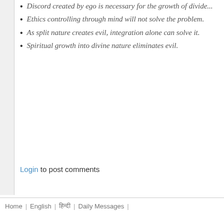Discord created by ego is necessary for the growth of dividu...
Ethics controlling through mind will not solve the problem.
As split nature creates evil, integration alone can solve it.
Spiritual growth into divine nature eliminates evil.
Login to post comments
Home | English | हिन्दी | Daily Messages |